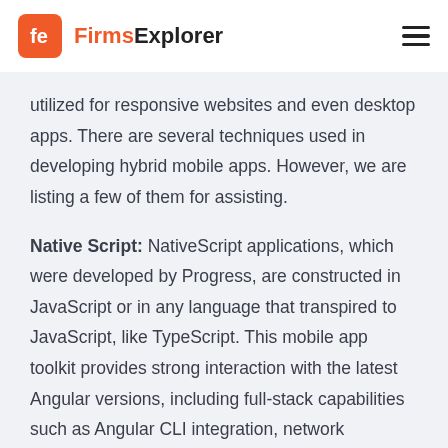FirmsExplorer
utilized for responsive websites and even desktop apps. There are several techniques used in developing hybrid mobile apps. However, we are listing a few of them for assisting.
Native Script: NativeScript applications, which were developed by Progress, are constructed in JavaScript or in any language that transpired to JavaScript, like TypeScript. This mobile app toolkit provides strong interaction with the latest Angular versions, including full-stack capabilities such as Angular CLI integration, network compatibility, and coding.